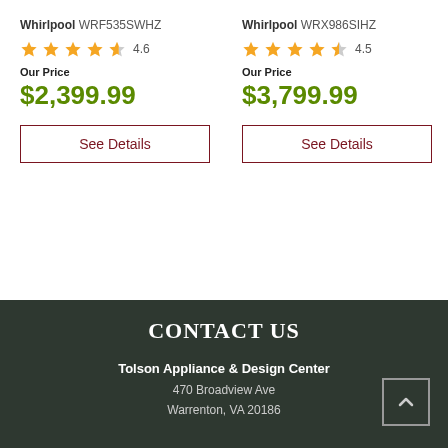Whirlpool WRF535SWHZ
4.6 stars
Our Price
$2,399.99
See Details
Whirlpool WRX986SIHZ
4.5 stars
Our Price
$3,799.99
See Details
CONTACT US
Tolson Appliance & Design Center
470 Broadview Ave
Warrenton, VA 20186